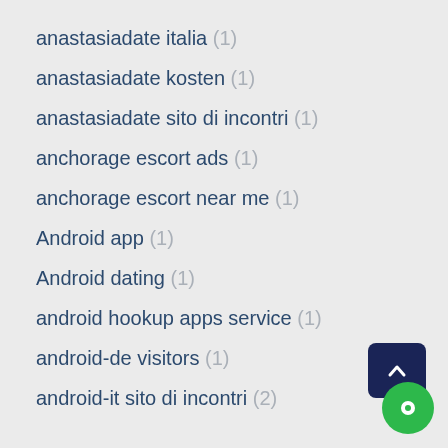anastasiadate italia (1)
anastasiadate kosten (1)
anastasiadate sito di incontri (1)
anchorage escort ads (1)
anchorage escort near me (1)
Android app (1)
Android dating (1)
android hookup apps service (1)
android-de visitors (1)
android-it sito di incontri (2)